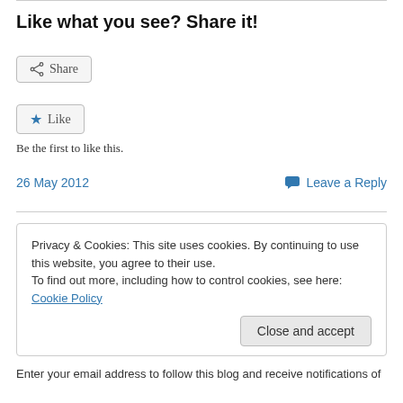Like what you see? Share it!
[Figure (other): Share button with share icon]
[Figure (other): Like button with blue star icon]
Be the first to like this.
26 May 2012
Leave a Reply
Privacy & Cookies: This site uses cookies. By continuing to use this website, you agree to their use. To find out more, including how to control cookies, see here: Cookie Policy
[Figure (other): Close and accept button]
Enter your email address to follow this blog and receive notifications of